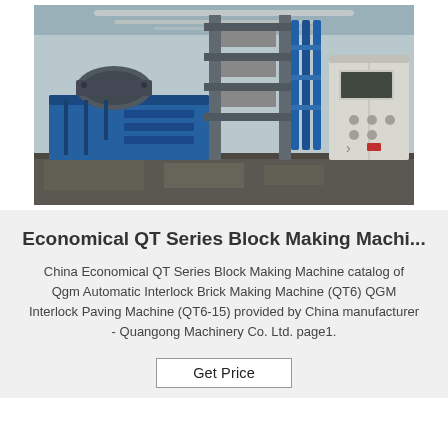[Figure (photo): Industrial block making machine in a factory setting, showing blue hydraulic unit with electric motor on left, vertical pressing frame in center, and white control cabinet on right]
Economical QT Series Block Making Machi...
China Economical QT Series Block Making Machine catalog of Qgm Automatic Interlock Brick Making Machine (QT6) QGM Interlock Paving Machine (QT6-15) provided by China manufacturer - Quangong Machinery Co. Ltd. page1.
Get Price